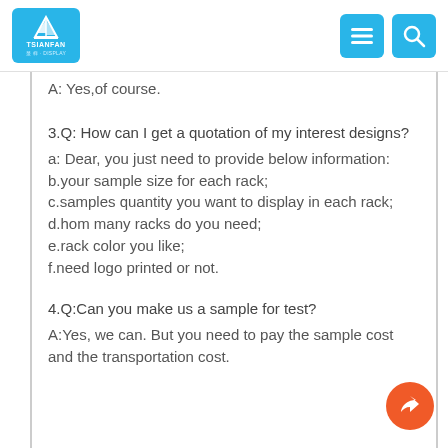TSIANFAN DISPLAY
A: Yes,of course.
3.Q: How can I get a quotation of my interest designs?
a: Dear, you just need to provide below information:
b.your sample size for each rack;
c.samples quantity you want to display in each rack;
d.hom many racks do you need;
e.rack color you like;
f.need logo printed or not.
4.Q:Can you make us a sample for test?
A:Yes, we can. But you need to pay the sample cost and the transportation cost.